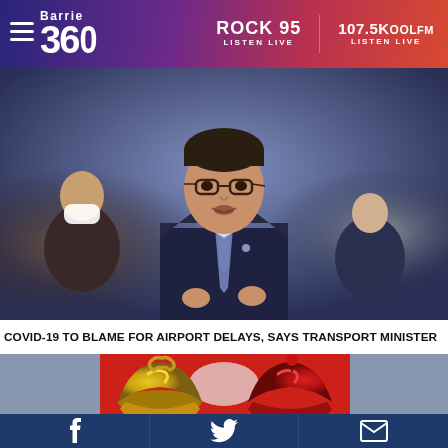Barrie 360 | ROCK 95 LISTEN LIVE | 107.5KOOLFM LISTEN LIVE
[Figure (photo): Man in dark suit and glasses speaking in what appears to be a parliament or legislature, with people in background, one wearing a white face mask]
COVID-19 TO BLAME FOR AIRPORT DELAYS, SAYS TRANSPORT MINISTER
[Figure (photo): Close-up of crocheted yellow and red cupcakes with pretzel and candy toppings, person in red shirt in background]
Facebook | Twitter | Email